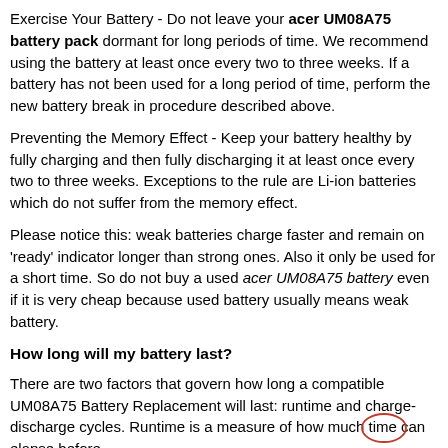Exercise Your Battery - Do not leave your acer UM08A75 battery pack dormant for long periods of time. We recommend using the battery at least once every two to three weeks. If a battery has not been used for a long period of time, perform the new battery break in procedure described above.
Preventing the Memory Effect - Keep your battery healthy by fully charging and then fully discharging it at least once every two to three weeks. Exceptions to the rule are Li-ion batteries which do not suffer from the memory effect.
Please notice this: weak batteries charge faster and remain on 'ready' indicator longer than strong ones. Also it only be used for a short time. So do not buy a used acer UM08A75 battery even if it is very cheap because used battery usually means weak battery.
How long will my battery last?
There are two factors that govern how long a compatible UM08A75 Battery Replacement will last: runtime and charge-discharge cycles. Runtime is a measure of how much time can elapse before.
Should I charge my battery before I use it, each time I use it,